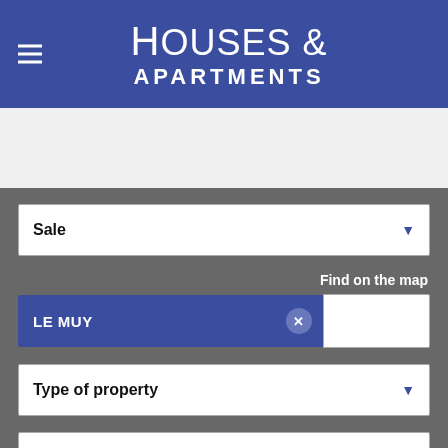Houses & Apartments
Sale
Find on the map
LE MUY
Type of property